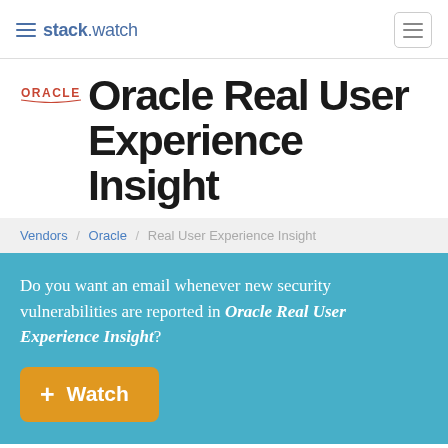stack.watch
Oracle Real User Experience Insight
Vendors / Oracle / Real User Experience Insight
Do you want an email whenever new security vulnerabilities are reported in Oracle Real User Experience Insight?
+ Watch